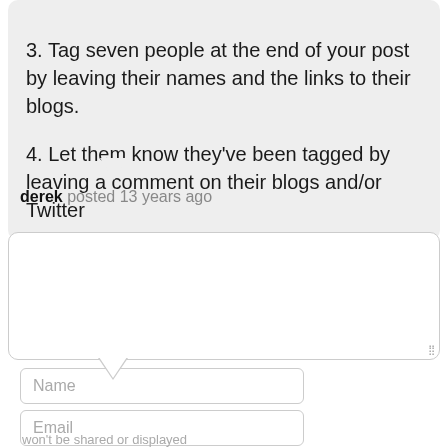3. Tag seven people at the end of your post by leaving their names and the links to their blogs.
4. Let them know they've been tagged by leaving a comment on their blogs and/or Twitter
derek posted 13 years ago
[Figure (other): Empty comment text area input box with resize handle]
Name
Email
won't be shared or displayed